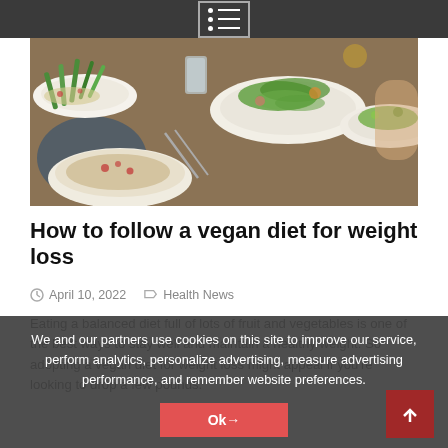Navigation menu bar
[Figure (photo): Overhead photo of multiple white plates with various vegetarian/vegan food dishes including green vegetables, salads, and grains on a wooden table]
How to follow a vegan diet for weight loss
April 10, 2022   Health News
Eating a balanced diet full of lots of fruit and vegetables is one of the best ways to stay well and maintain a healthy weight. So adopting a vegan diet for weight loss might appeal if you're looking to drop a few pounds.
In fact, people who eat more plant foods tend to weigh less
We and our partners use cookies on this site to improve our service, perform analytics, personalize advertising, measure advertising performance, and remember website preferences.
Ok→